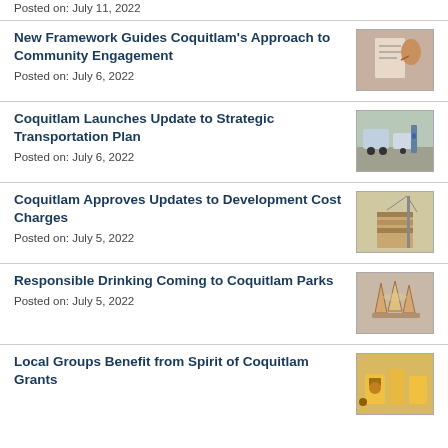Posted on: July 11, 2022
New Framework Guides Coquitlam's Approach to Community Engagement
Posted on: July 6, 2022
[Figure (photo): Person pointing at a notice board or document]
Coquitlam Launches Update to Strategic Transportation Plan
Posted on: July 6, 2022
[Figure (photo): Street scene with cars and a cyclist]
Coquitlam Approves Updates to Development Cost Charges
Posted on: July 5, 2022
[Figure (photo): Construction crane and building under construction]
Responsible Drinking Coming to Coquitlam Parks
Posted on: July 5, 2022
[Figure (photo): People toasting drinks outdoors in a park]
Local Groups Benefit from Spirit of Coquitlam Grants
[Figure (photo): Community event or festival scene]